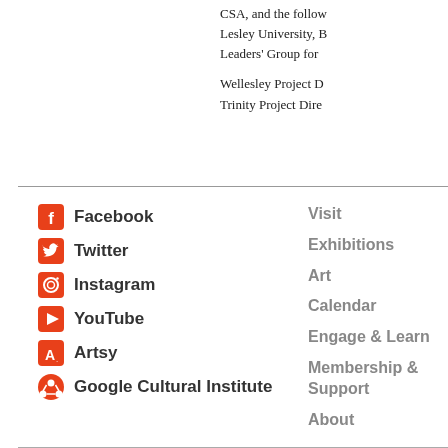CSA, and the follow Lesley University, B Leaders' Group for
Wellesley Project D Trinity Project Dire
Facebook
Twitter
Instagram
YouTube
Artsy
Google Cultural Institute
Visit
Exhibitions
Art
Calendar
Engage & Learn
Membership & Support
About